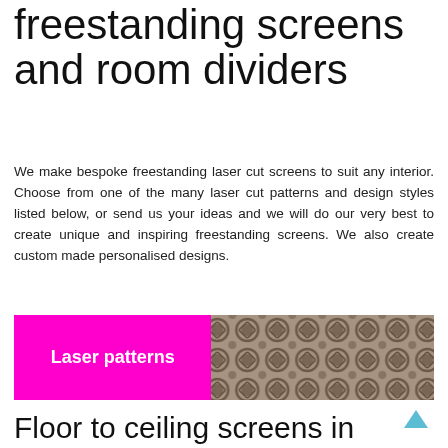freestanding screens and room dividers
We make bespoke freestanding laser cut screens to suit any interior. Choose from one of the many laser cut patterns and design styles listed below, or send us your ideas and we will do our very best to create unique and inspiring freestanding screens. We also create custom made personalised designs.
[Figure (other): Banner with magenta/pink left half labelled 'Laser patterns' and right half showing a metallic laser-cut pattern panel photo]
Floor to ceiling screens in 100s of different laser cut